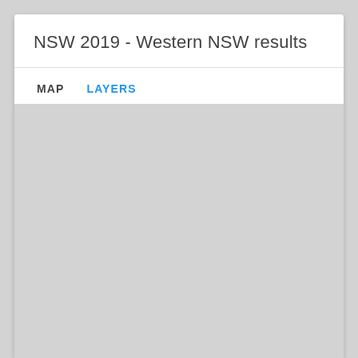NSW 2019 - Western NSW results
MAP   LAYERS
[Figure (map): Gray placeholder map area for Western NSW results]